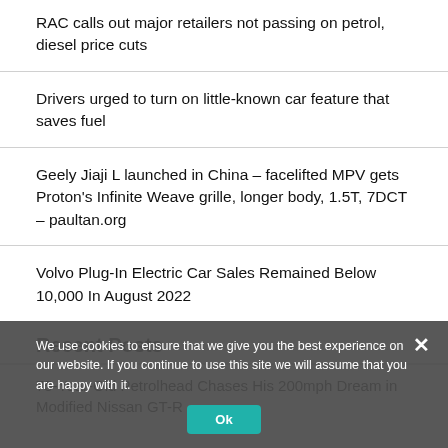RAC calls out major retailers not passing on petrol, diesel price cuts
Drivers urged to turn on little-known car feature that saves fuel
Geely Jiaji L launched in China – facelifted MPV gets Proton's Infinite Weave grille, longer body, 1.5T, 7DCT – paultan.org
Volvo Plug-In Electric Car Sales Remained Below 10,000 In August 2022
Recent Posts
75-Year-Old Petrolhead Chases His 200mph Dream in Modified Nissan GT-R
We use cookies to ensure that we give you the best experience on our website. If you continue to use this site we will assume that you are happy with it.